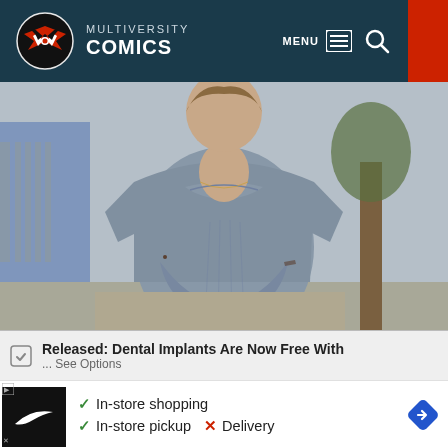MULTIVERSITY COMICS
[Figure (photo): Woman wearing a grey fitted short-sleeve top, standing outdoors on a sidewalk with a fence, blue building, and tree visible in the background.]
Released: Dental Implants Are Now Free With
... See Options
[Figure (screenshot): Nike advertisement showing black Nike logo box on left, checkmarks for In-store shopping and In-store pickup, red X for Delivery, and a blue navigation diamond icon on right.]